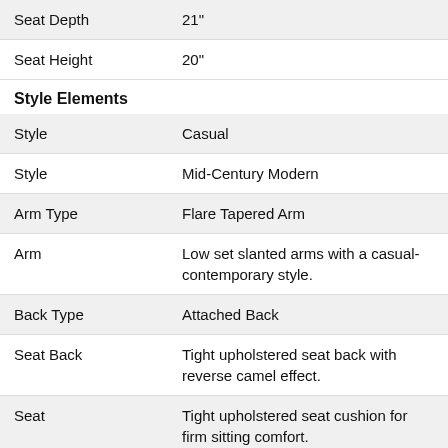| Seat Depth | 21" |
| Seat Height | 20" |
Style Elements
| Style | Casual |
| Style | Mid-Century Modern |
| Arm Type | Flare Tapered Arm |
| Arm | Low set slanted arms with a casual-contemporary style. |
| Back Type | Attached Back |
| Seat Back | Tight upholstered seat back with reverse camel effect. |
| Seat | Tight upholstered seat cushion for firm sitting comfort. |
| Leg or Skirt | Long, lean legs with a simple, casual style in dark finish. KD Leg Assembly. |
Construction & Warranty